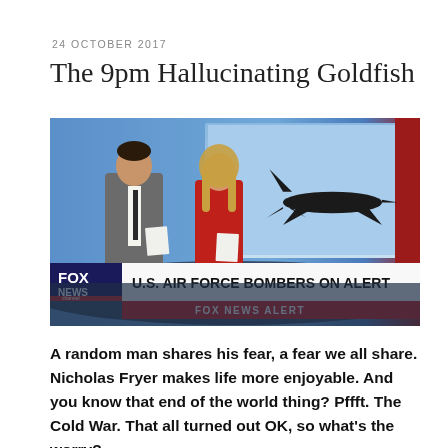24 OCTOBER 2017
The 9pm Hallucinating Goldfish
[Figure (screenshot): Fox News broadcast screenshot showing two news anchors (a man in a grey suit and a woman in a red dress) standing in a studio with a large screen behind them displaying a silhouette of a military jet aircraft. The lower chyron reads 'U.S. AIR FORCE BOMBERS ON ALERT' in large bold black text on white, and below it a red banner reads 'FOX NEWS ALERT'. The Fox News Channel logo appears in the bottom left corner.]
A random man shares his fear, a fear we all share. Nicholas Fryer makes life more enjoyable. And you know that end of the world thing? Pffft. The Cold War. That all turned out OK, so what's the worry?